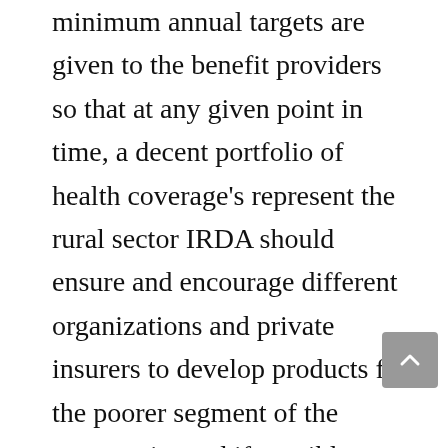minimum annual targets are given to the benefit providers so that at any given point in time, a decent portfolio of health coverage's represent the rural sector IRDA should ensure and encourage different organizations and private insurers to develop products for the poorer segment of the community and if possible build an element of cross subsidy for them. The IRDA will have a significant role in regulating the health insurance sector and safe guarding the interests of the policy holders by minimizing the unintended